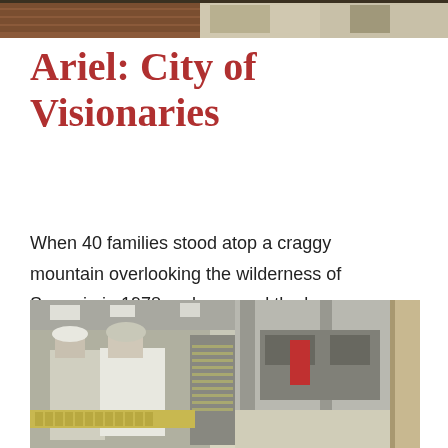[Figure (photo): Top partial photo showing industrial/warehouse setting with brick and building elements, cropped at top of page]
Ariel: City of Visionaries
When 40 families stood atop a craggy mountain overlooking the wilderness of Samaria in 1978 and scanned the barren wasteland that would become their home... Elwood McQuaid
[Figure (photo): Interior of an industrial food production facility with workers in white coats and hairnets, baking trays on racks, industrial equipment and machinery visible]